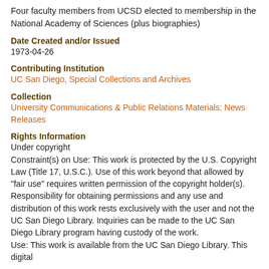Four faculty members from UCSD elected to membership in the National Academy of Sciences (plus biographies)
Date Created and/or Issued
1973-04-26
Contributing Institution
UC San Diego, Special Collections and Archives
Collection
University Communications & Public Relations Materials: News Releases
Rights Information
Under copyright
Constraint(s) on Use: This work is protected by the U.S. Copyright Law (Title 17, U.S.C.). Use of this work beyond that allowed by "fair use" requires written permission of the copyright holder(s). Responsibility for obtaining permissions and any use and distribution of this work rests exclusively with the user and not the UC San Diego Library. Inquiries can be made to the UC San Diego Library program having custody of the work.
Use: This work is available from the UC San Diego Library. This digital